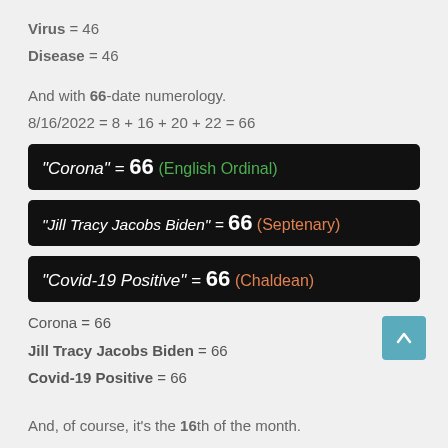Virus = 46
Disease = 46
And with 66-date numerology.
8/16/2022 = 8 + 16 + 20 + 22 = 66
[Figure (other): Black banner: "Corona" = 66 (English Ordinal)]
[Figure (other): Black banner: "Jill Tracy Jacobs Biden" = 66 (Septenary)]
[Figure (other): Black banner: "Covid-19 Positive" = 66 (Chaldean)]
Corona = 66
Jill Tracy Jacobs Biden = 66
Covid-19 Positive = 66
And, of course, it's the 16th of the month.